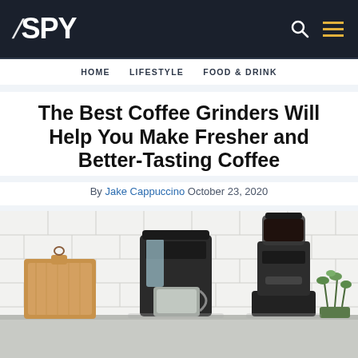SPY
HOME
LIFESTYLE
FOOD & DRINK
The Best Coffee Grinders Will Help You Make Fresher and Better-Tasting Coffee
By Jake Cappuccino October 23, 2020
[Figure (photo): Coffee grinders and a drip coffee maker on a white tile kitchen counter, with a wooden cutting board on the left and a small herb plant on the right.]